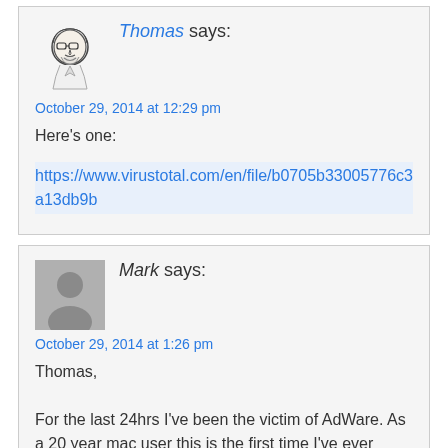[Figure (illustration): Hand-drawn avatar illustration of a person with glasses and beard]
Thomas says:
October 29, 2014 at 12:29 pm
Here's one:
https://www.virustotal.com/en/file/b0705b33005776c3a13db9b
[Figure (illustration): Generic gray silhouette avatar placeholder]
Mark says:
October 29, 2014 at 1:26 pm
Thomas,

For the last 24hrs I've been the victim of AdWare. As a 20 year mac user this is the first time I've ever experienced such a frustrating and intrusive event. On the verge of calling Apple Care I took one last stab at